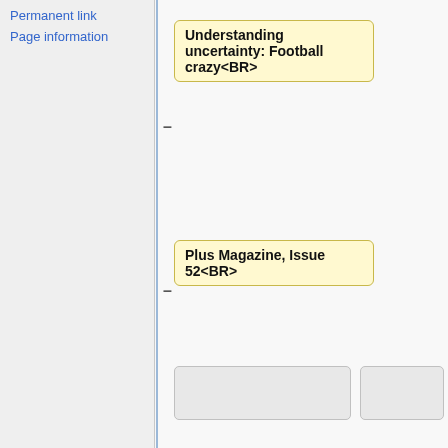Permanent link
Page information
Understanding uncertainty: Football crazy<BR>
Plus Magazine, Issue 52<BR>
Here we read:
On May 22nd 2009 the English Premier league had one more match day ahead, with West Bromwich Albion at the bottom of the league and
==Forsooth==